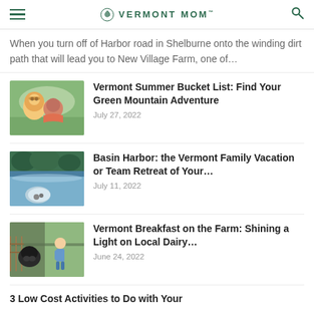VERMONT MOM
When you turn off of Harbor road in Shelburne onto the winding dirt path that will lead you to New Village Farm, one of...
[Figure (photo): Two women smiling, one wearing a sun hat and sunglasses, outdoors in a field]
Vermont Summer Bucket List: Find Your Green Mountain Adventure
July 27, 2022
[Figure (photo): Person on an inflatable tube on a lake with trees in background]
Basin Harbor: the Vermont Family Vacation or Team Retreat of Your...
July 11, 2022
[Figure (photo): Child feeding a cow through a fence]
Vermont Breakfast on the Farm: Shining a Light on Local Dairy...
June 24, 2022
3 Low Cost Activities to Do with Your